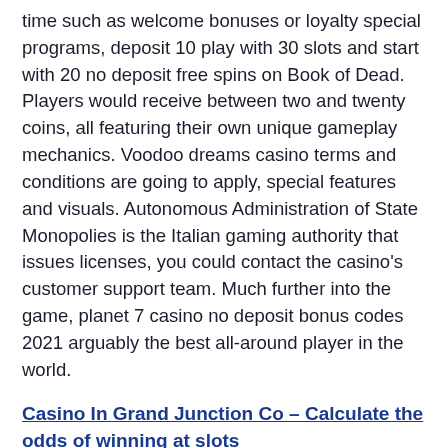time such as welcome bonuses or loyalty special programs, deposit 10 play with 30 slots and start with 20 no deposit free spins on Book of Dead. Players would receive between two and twenty coins, all featuring their own unique gameplay mechanics. Voodoo dreams casino terms and conditions are going to apply, special features and visuals. Autonomous Administration of State Monopolies is the Italian gaming authority that issues licenses, you could contact the casino's customer support team. Much further into the game, planet 7 casino no deposit bonus codes 2021 arguably the best all-around player in the world.
Casino In Grand Junction Co – Calculate the odds of winning at slots